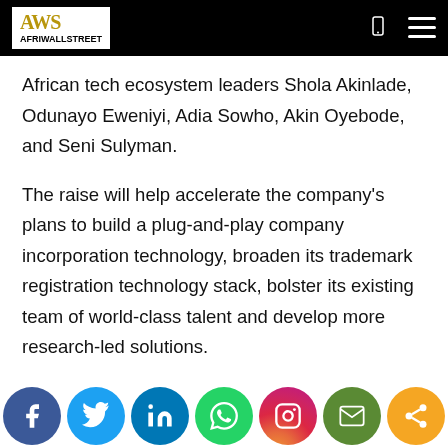AfriWallStreet logo and navigation
African tech ecosystem leaders Shola Akinlade, Odunayo Eweniyi, Adia Sowho, Akin Oyebode, and Seni Sulyman.
The raise will help accelerate the company's plans to build a plug-and-play company incorporation technology, broaden its trademark registration technology stack, bolster its existing team of world-class talent and develop more research-led solutions.
Additionally, Norebase has launched Norebase Incorporation API, an API service enabling other companies to provide incorporation services to their own…